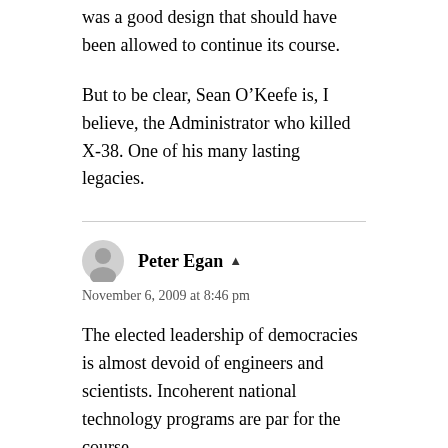was a good design that should have been allowed to continue its course.
But to be clear, Sean O’Keefe is, I believe, the Administrator who killed X-38. One of his many lasting legacies.
Peter Egan
November 6, 2009 at 8:46 pm
The elected leadership of democracies is almost devoid of engineers and scientists. Incoherent national technology programs are par for the course.
If a government in Australia wants to in quite